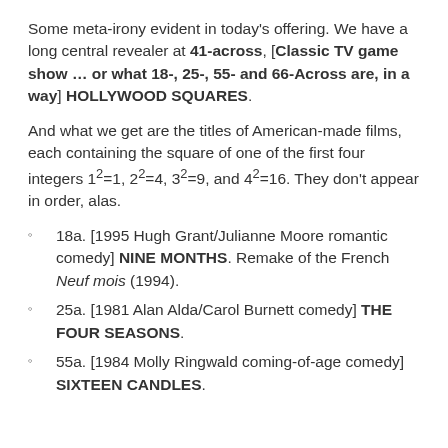Some meta-irony evident in today's offering. We have a long central revealer at 41-across, [Classic TV game show … or what 18-, 25-, 55- and 66-Across are, in a way] HOLLYWOOD SQUARES.
And what we get are the titles of American-made films, each containing the square of one of the first four integers 1²=1, 2²=4, 3²=9, and 4²=16. They don't appear in order, alas.
18a. [1995 Hugh Grant/Julianne Moore romantic comedy] NINE MONTHS. Remake of the French Neuf mois (1994).
25a. [1981 Alan Alda/Carol Burnett comedy] THE FOUR SEASONS.
55a. [1984 Molly Ringwald coming-of-age comedy] SIXTEEN CANDLES.